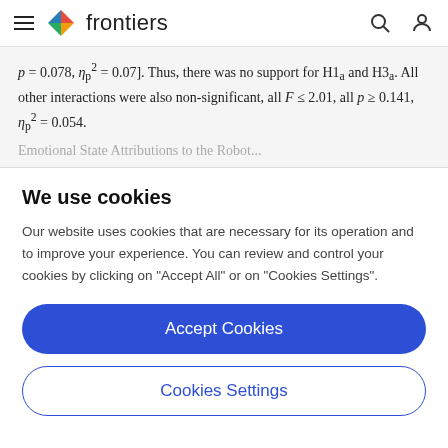frontiers
p = 0.078, η²p = 0.07]. Thus, there was no support for H1a and H3a. All other interactions were also non-significant, all F ≤ 2.01, all p ≥ 0.141, η²p = 0.054.
Emotional State Attributions to the Robot...
We use cookies
Our website uses cookies that are necessary for its operation and to improve your experience. You can review and control your cookies by clicking on "Accept All" or on "Cookies Settings".
Accept Cookies
Cookies Settings